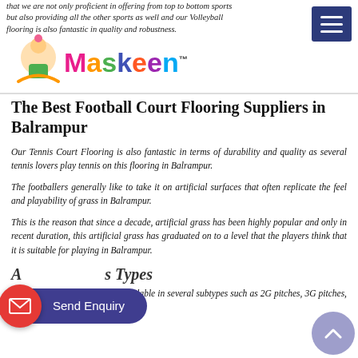that we are not only proficient in offering from top to bottom sports but also providing all the other sports as well and our Volleyball flooring is also fantastic in quality and robustness.
The Best Football Court Flooring Suppliers in Balrampur
Our Tennis Court Flooring is also fantastic in terms of durability and quality as several tennis lovers play tennis on this flooring in Balrampur.
The footballers generally like to take it on artificial surfaces that often replicate the feel and playability of grass in Balrampur.
This is the reason that since a decade, artificial grass has been highly popular and only in recent duration, this artificial grass has graduated on to a level that the players think that it is suitable for playing in Balrampur.
Artificial Grass Types
The football court flooring is available in several subtypes such as 2G pitches, 3G pitches, 4G pitches, and hard surfaces.